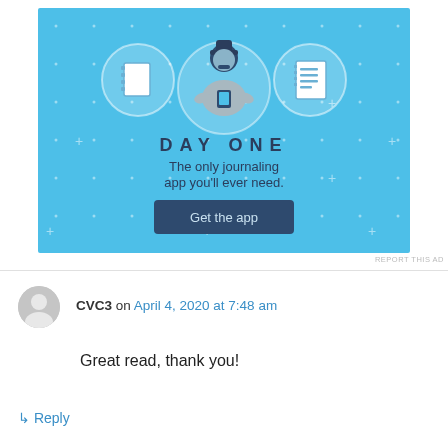[Figure (illustration): Day One journaling app advertisement banner with light blue background, showing a person holding a phone flanked by a notebook icon on the left and a checklist icon on the right. Text reads 'DAY ONE - The only journaling app you'll ever need.' with a 'Get the app' button.]
REPORT THIS AD
CVC3 on April 4, 2020 at 7:48 am
Great read, thank you!
↳ Reply